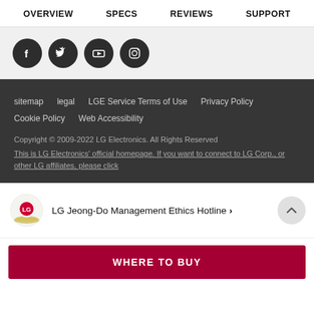OVERVIEW   SPECS   REVIEWS   SUPPORT
[Figure (illustration): Social media icons: Facebook, Twitter, YouTube, Instagram — dark circular buttons on light grey background]
sitemap   legal   LGE Service Terms of Use   Privacy Policy   Cookie Policy   Web Accessibility
Copyright © 2009-2022 LG Electronics. All Rights Reserved
This is LG Electronics' official homepage. If you want to connect to LG Corp., or other LG affiliates, please click
LG Jeong-Do Management Ethics Hotline ›
WHERE TO BUY